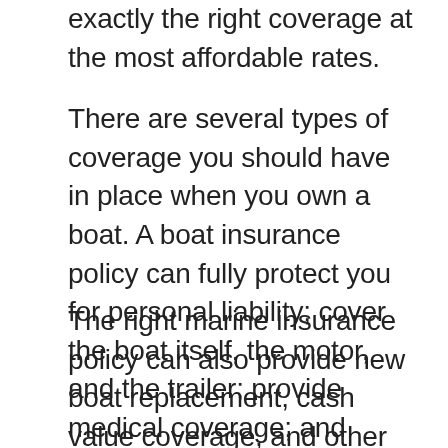exactly the right coverage at the most affordable rates.
There are several types of coverage you should have in place when you own a boat. A boat insurance policy can fully protect you for personal liability; cover the boat itself, the motor, and the trailer; provide medical coverage; and protect against various physical damage perils.
The right marine insurance policy can also provide new boat replacement, cash value coverage, and other options. Creating a custom policy that perfectly suits your situation can not only ensure your investment is safe, but it can also save you money in the end. It's worth getting your current policy reviewed, as it may be possible to get you a